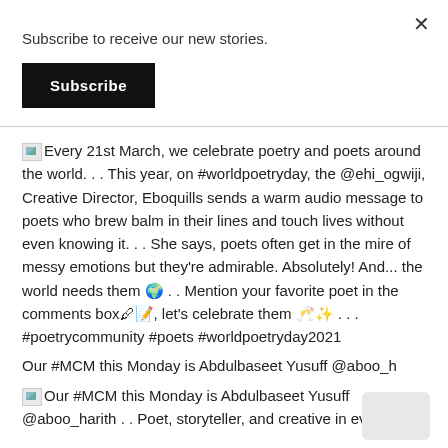×
Subscribe to receive our new stories.
Subscribe
Every 21st March, we celebrate poetry and poets around the world. . . This year, on #worldpoetryday, the @ehi_ogwiji, Creative Director, Eboquills sends a warm audio message to poets who brew balm in their lines and touch lives without even knowing it. . . She says, poets often get in the mire of messy emotions but they're admirable. Absolutely! And... the world needs them 🌍 . . Mention your favorite poet in the comments box🖊️📝, let's celebrate them 🥂✨ . . . #poetrycommunity #poets #worldpoetryday2021
Our #MCM this Monday is Abdulbaseet Yusuff @aboo_h
Our #MCM this Monday is Abdulbaseet Yusuff @aboo_harith . . Poet, storyteller, and creative in every